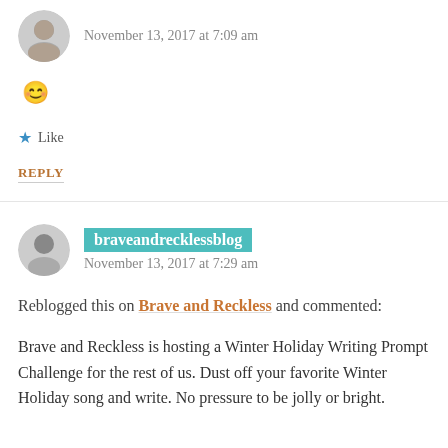November 13, 2017 at 7:09 am
🙂
★ Like
REPLY
braveandrecklessblog
November 13, 2017 at 7:29 am
Reblogged this on Brave and Reckless and commented:
Brave and Reckless is hosting a Winter Holiday Writing Prompt Challenge for the rest of us. Dust off your favorite Winter Holiday song and write. No pressure to be jolly or bright.